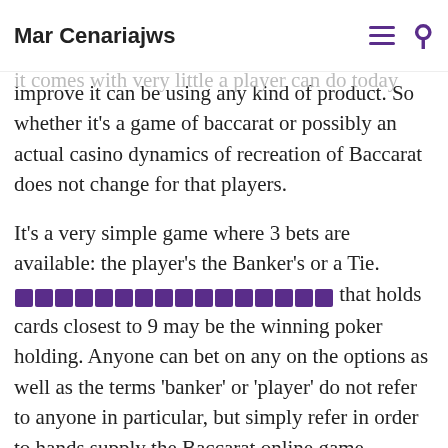Mar Cenariajws
improve it can be using any kind of product. So whether it's a game of baccarat or possibly an actual casino dynamics of recreation of Baccarat does not change for that players.
It's a very simple game where 3 bets are available: the player's the Banker's or a Tie. [REDACTED] that holds cards closest to 9 may be the winning poker holding. Anyone can bet on any on the options as well as the terms 'banker' or 'player' do not refer to anyone in particular, but simply refer in order to hands supply the Baccarat online game.
The cards have their face value, while the aces count as one and the picture cards as ten.